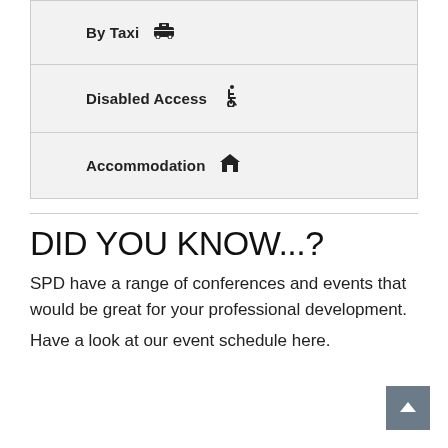By Taxi 🚕
Disabled Access ♿
Accommodation 🏠
DID YOU KNOW...?
SPD have a range of conferences and events that would be great for your professional development.
Have a look at our event schedule here.